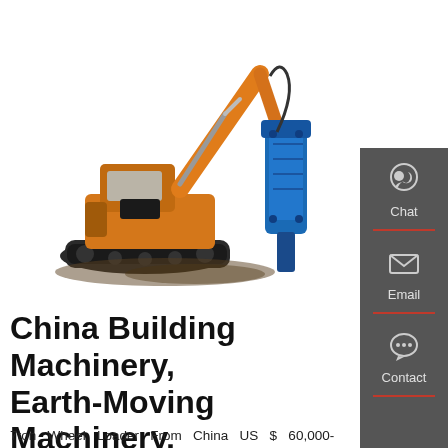[Figure (photo): Yellow tracked excavator with blue hydraulic hammer attachment, on white background]
China Building Machinery, Earth-Moving Machinery, Lifting
[Figure (infographic): Dark grey sidebar with Chat (headset icon), Email (envelope icon), and Contact (speech bubble icon) buttons separated by red dividers]
7ton Wheel Loader From China US $ 60,000-